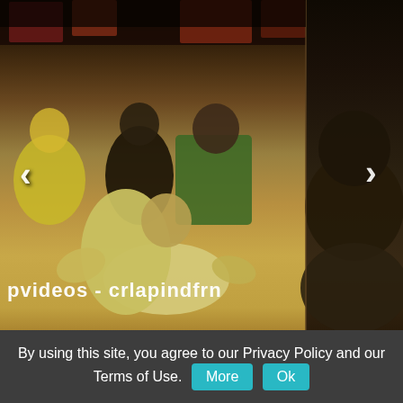[Figure (screenshot): Video player showing a crowd scene with people in a colorful indoor setting. A vertical divider separates the main video area from a right panel. Left and right navigation arrows are visible. A watermark 'pvideos - crlapindfrn' appears at the bottom left of the video.]
[Figure (photo): Thumbnail strip showing three video thumbnails: first shows the same crowd scene, second shows a gray water/sky scene with a green shape, third shows colorful decorated figures.]
By using this site, you agree to our Privacy Policy and our Terms of Use.
More
Ok